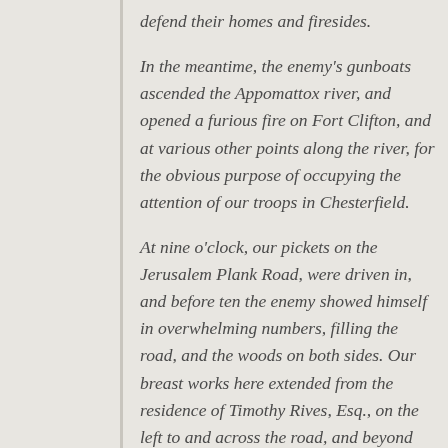defend their homes and firesides.
In the meantime, the enemy's gunboats ascended the Appomattox river, and opened a furious fire on Fort Clifton, and at various other points along the river, for the obvious purpose of occupying the attention of our troops in Chesterfield.
At nine o'clock, our pickets on the Jerusalem Plank Road, were driven in, and before ten the enemy showed himself in overwhelming numbers, filling the road, and the woods on both sides. Our breast works here extended from the residence of Timothy Rives, Esq., on the left to and across the road, and beyond the house of Mr. Wm. A. Gregory, on the right. The enemy manœuvred for a while, thinking